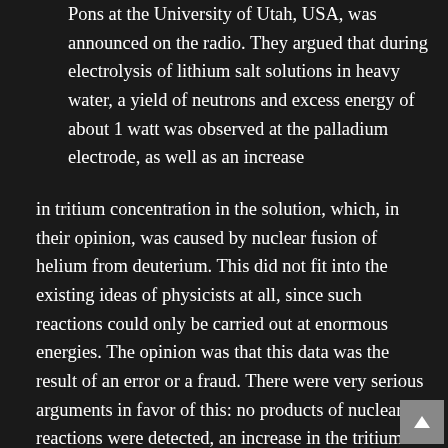electrochemists Martin Fleishman and Stanley Pons at the University of Utah, USA, was announced on the radio. They argued that during electrolysis of lithium salt solutions in heavy water, a yield of neutrons and excess energy of about 1 watt was observed at the palladium electrode, as well as an increase
in tritium concentration in the solution, which, in their opinion, was caused by nuclear fusion of helium from deuterium. This did not fit into the existing ideas of physicists at all, since such reactions could only be carried out at enormous energies. The opinion was that this data was the result of an error or a fraud. There were very serious arguments in favor of this: no products of nuclear reactions were detected, an increase in the tritium content could be caused by its accumulation upon evaporation of heavy water, and the energy release should have been accompanied by a huge neutron flux,